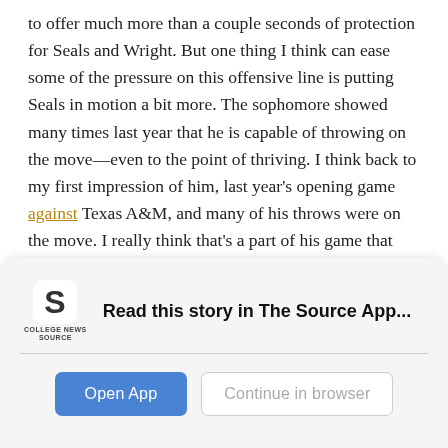to offer much more than a couple seconds of protection for Seals and Wright. But one thing I think can ease some of the pressure on this offensive line is putting Seals in motion a bit more. The sophomore showed many times last year that he is capable of throwing on the move—even to the point of thriving. I think back to my first impression of him, last year's opening game against Texas A&M, and many of his throws were on the move. I really think that's a part of his game that this staff has disregarded. Joey Lynch and David Raih also need to make things easier for their play-callers by using more screens. Cam Johnson is a textbook screen guy and they are asking him to run downfield far too much.
[Figure (logo): College News Source app logo — stylized S icon with 'COLLEGE NEWS SOURCE' text beneath]
Read this story in The Source App...
Open App
Continue in browser